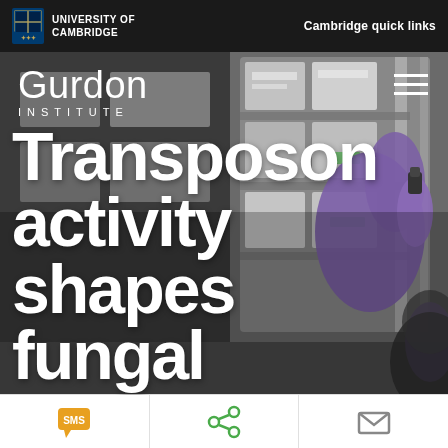UNIVERSITY OF CAMBRIDGE | Cambridge quick links
[Figure (photo): A researcher wearing purple gloves reaches into a freezer or storage unit filled with labeled plastic containers/boxes. The image is dark and moody, serving as a background for the article title.]
Transposon activity shapes fungal
[Figure (other): Bottom toolbar with three icons: SMS (orange chat bubble icon), Share (green share icon), and Email (grey envelope icon)]